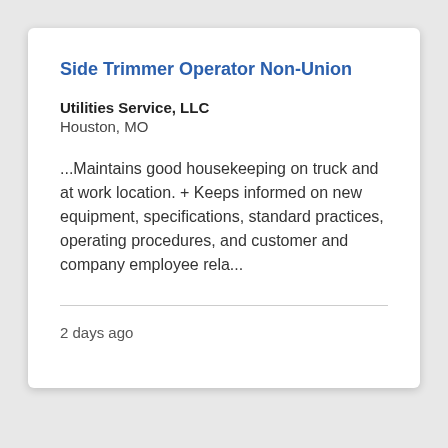Side Trimmer Operator Non-Union
Utilities Service, LLC
Houston, MO
...Maintains good housekeeping on truck and at work location. + Keeps informed on new equipment, specifications, standard practices, operating procedures, and customer and company employee rela...
2 days ago